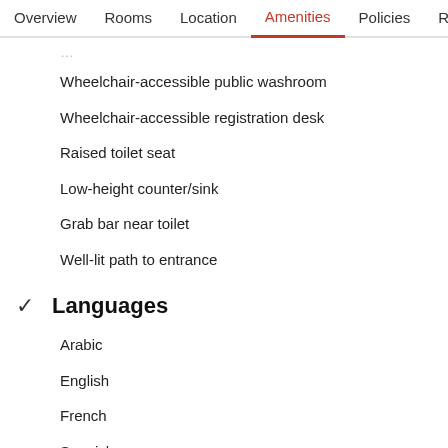Overview  Rooms  Location  Amenities  Policies  Reviews
Wheelchair-accessible public washroom
Wheelchair-accessible registration desk
Raised toilet seat
Low-height counter/sink
Grab bar near toilet
Well-lit path to entrance
✓ Languages
Arabic
English
French
Spanish
Room amenities